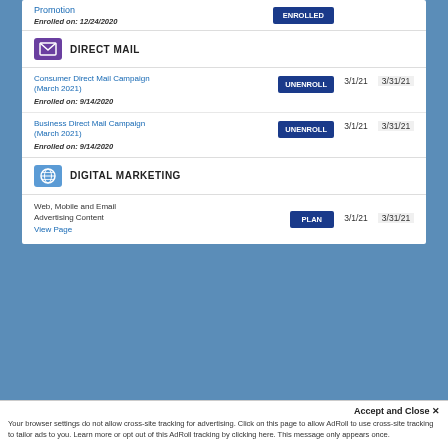Promotion
Enrolled on: 12/24/2020
DIRECT MAIL
Consumer Direct Mail Campaign (March 2021)
Enrolled on: 9/14/2020
UNENROLL
3/1/21
3/31/21
Business Direct Mail Campaign (March 2021)
Enrolled on: 9/14/2020
UNENROLL
3/1/21
3/31/21
DIGITAL MARKETING
Web, Mobile and Email Advertising Content
View Page
PLAN
3/1/21
3/31/21
Accept and Close ✕
Your browser settings do not allow cross-site tracking for advertising. Click on this page to allow AdRoll to use cross-site tracking to tailor ads to you. Learn more or opt out of this AdRoll tracking by clicking here. This message only appears once.